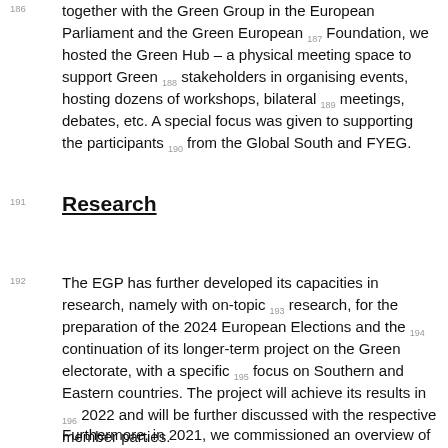together with the Green Group in the European Parliament and the Green European Foundation, we hosted the Green Hub – a physical meeting space to support Green stakeholders in organising events, hosting dozens of workshops, bilateral meetings, debates, etc. A special focus was given to supporting the participants from the Global South and FYEG.
Research
The EGP has further developed its capacities in research, namely with on-topic research, for the preparation of the 2024 European Elections and the continuation of its longer-term project on the Green electorate, with a specific focus on Southern and Eastern countries. The project will achieve its results in 2022 and will be further discussed with the respective member parties.
Furthermore, in 2021, we commissioned an overview of